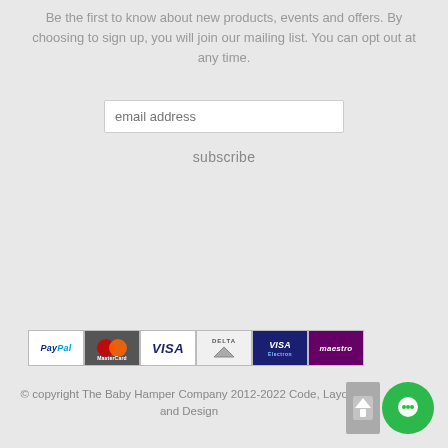Be the first to know about new products, events and offers. By choosing to sign up, you will join our mailing list. You can opt out at any time.
email address
subscribe
[Figure (logo): Payment method icons: PayPal, MasterCard, VISA, Delta, VISA Electron, Maestro]
© copyright The Baby Hamper Company 2012-2022 Code, Layout and Design